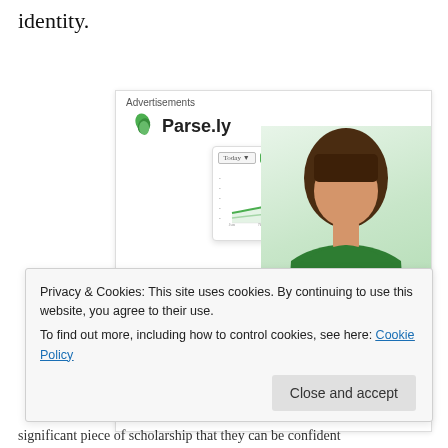identity.
[Figure (screenshot): Parse.ly advertisement showing 'Content Analytics Made Easy' with a dashboard chart screenshot, a woman in a green top, and an 'Advertisements' label at the top. The ad has a white card with a line chart mockup overlaid on a photo of a smiling woman.]
Privacy & Cookies: This site uses cookies. By continuing to use this website, you agree to their use.
To find out more, including how to control cookies, see here: Cookie Policy
Close and accept
significant piece of scholarship that they can be confident